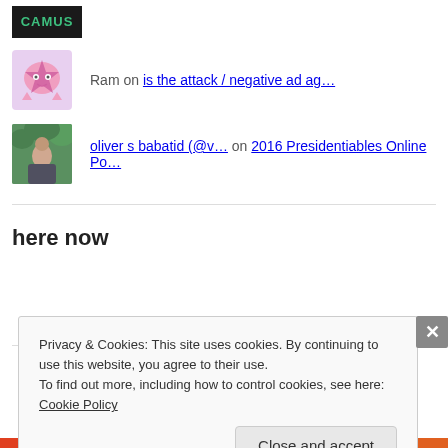[Figure (screenshot): Camus logo - dark background with green 'CAMUS' text]
Ram on is the attack / negative ad ag…
oliver s babatid (@v… on 2016 Presidentiables Online Po…
here now
Privacy & Cookies: This site uses cookies. By continuing to use this website, you agree to their use.
To find out more, including how to control cookies, see here: Cookie Policy
Close and accept